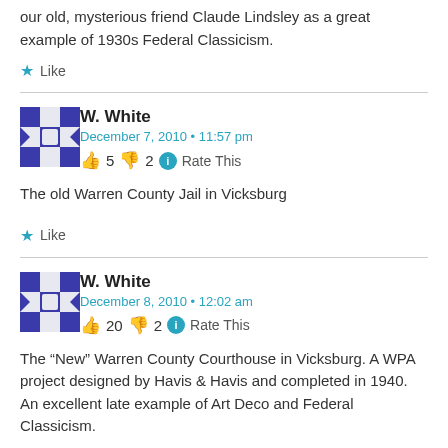our old, mysterious friend Claude Lindsley as a great example of 1930s Federal Classicism.
★ Like
W. White
December 7, 2010 • 11:57 pm
👍 5 👎 2 ℹ Rate This
The old Warren County Jail in Vicksburg
★ Like
W. White
December 8, 2010 • 12:02 am
👍 20 👎 2 ℹ Rate This
The “New” Warren County Courthouse in Vicksburg. A WPA project designed by Havis & Havis and completed in 1940. An excellent late example of Art Deco and Federal Classicism.